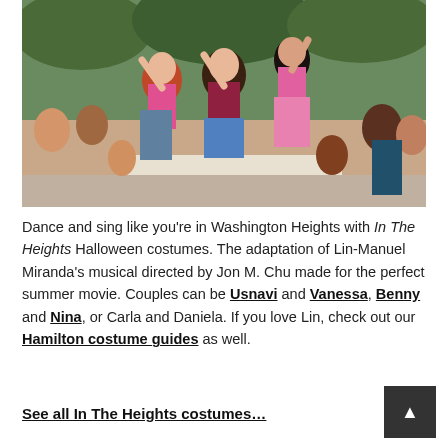[Figure (photo): Three women dancing outdoors at a summer event, likely a scene from the movie 'In The Heights'. The crowd is in the background with trees. The women are wearing colorful summer outfits — pink crop top, dark red ruffled top with denim shorts, and a pink bikini top with a pink skirt.]
Dance and sing like you're in Washington Heights with In The Heights Halloween costumes. The adaptation of Lin-Manuel Miranda's musical directed by Jon M. Chu made for the perfect summer movie. Couples can be Usnavi and Vanessa, Benny and Nina, or Carla and Daniela. If you love Lin, check out our Hamilton costume guides as well.
See all In The Heights costumes…